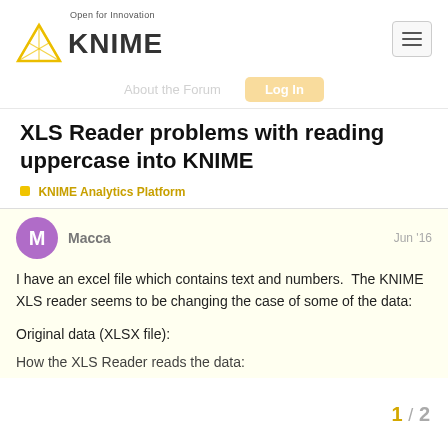[Figure (logo): KNIME logo with triangle icon and tagline 'Open for Innovation']
About the Forum  Log In
XLS Reader problems with reading uppercase into KNIME
KNIME Analytics Platform
Macca   Jun '16
I have an excel file which contains text and numbers.  The KNIME XLS reader seems to be changing the case of some of the data:
Original data (XLSX file):
How the XLS Reader reads the data:
1 / 2